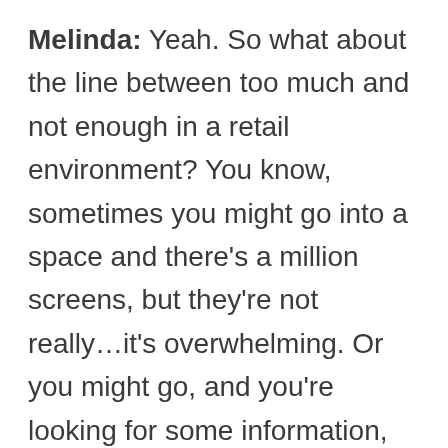Melinda: Yeah. So what about the line between too much and not enough in a retail environment? You know, sometimes you might go into a space and there's a million screens, but they're not really…it's overwhelming. Or you might go, and you're looking for some information, or looking for some, like you said, a friction point that could easily be resolved through the use of technology, and it's not there. How can brands make sure that they're striking the right